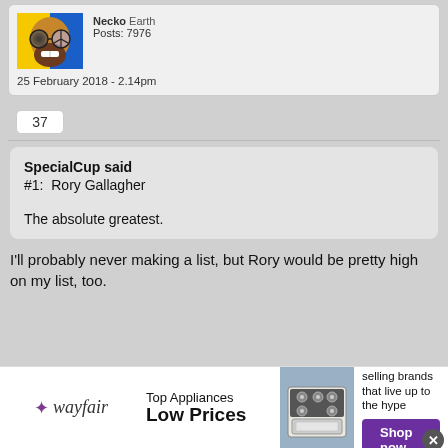[Figure (illustration): User avatar: cartoon face split yellow/blue with sunglasses and beard on red background]
Posts: 7976
25 February 2018 - 2.14pm
37
SpecialCup said
#1:  Rory Gallagher


The absolute greatest.
I'll probably never making a list, but Rory would be pretty high on my list, too.
[Figure (screenshot): Wayfair advertisement banner: Top Appliances Low Prices, image of stove, Save on best selling brands that live up to the hype, Shop now button]